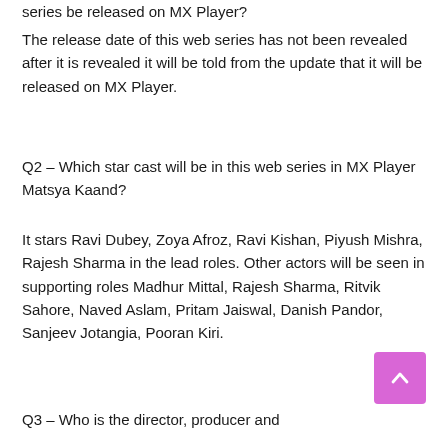series be released on MX Player?
The release date of this web series has not been revealed after it is revealed it will be told from the update that it will be released on MX Player.
Q2 – Which star cast will be in this web series in MX Player Matsya Kaand?
It stars Ravi Dubey, Zoya Afroz, Ravi Kishan, Piyush Mishra, Rajesh Sharma in the lead roles. Other actors will be seen in supporting roles Madhur Mittal, Rajesh Sharma, Ritvik Sahore, Naved Aslam, Pritam Jaiswal, Danish Pandor, Sanjeev Jotangia, Pooran Kiri.
Q3 – Who is the director, producer and